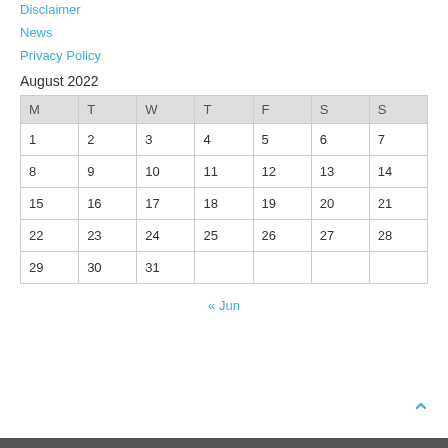Disclaimer
News
Privacy Policy
August 2022
| M | T | W | T | F | S | S |
| --- | --- | --- | --- | --- | --- | --- |
| 1 | 2 | 3 | 4 | 5 | 6 | 7 |
| 8 | 9 | 10 | 11 | 12 | 13 | 14 |
| 15 | 16 | 17 | 18 | 19 | 20 | 21 |
| 22 | 23 | 24 | 25 | 26 | 27 | 28 |
| 29 | 30 | 31 |  |  |  |  |
« Jun